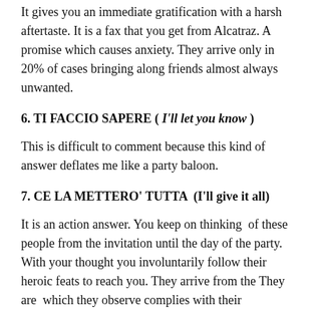It gives you an immediate gratification with a harsh aftertaste. It is a fax that you get from Alcatraz. A promise which causes anxiety. They arrive only in 20% of cases bringing along friends almost always unwanted.
6. TI FACCIO SAPERE ( I'll let you know )
This is difficult to comment because this kind of answer deflates me like a party baloon.
7. CE LA METTERO' TUTTA  (I'll give it all)
It is an action answer. You keep on thinking  of these people from the invitation until the day of the party. With your thought you involuntarily follow their heroic feats to reach you. They arrive from the They are which they observe complies with their